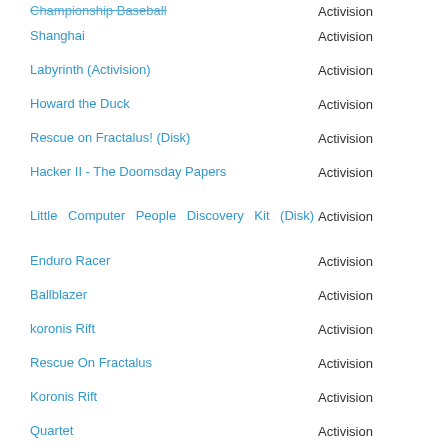| Game | Publisher |
| --- | --- |
| Championship Baseball | Activision |
| Shanghai | Activision |
| Labyrinth (Activision) | Activision |
| Howard the Duck | Activision |
| Rescue on Fractalus! (Disk) | Activision |
| Hacker II - The Doomsday Papers | Activision |
| Little Computer People Discovery Kit (Disk) | Activision |
| Enduro Racer | Activision |
| Ballblazer | Activision |
| koronis Rift | Activision |
| Rescue On Fractalus | Activision |
| Koronis Rift | Activision |
| Quartet | Activision |
| GFL Championship Football | Gamestar, Activision |